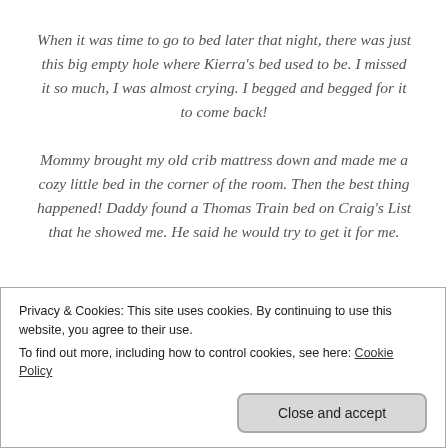When it was time to go to bed later that night, there was just this big empty hole where Kierra's bed used to be. I missed it so much, I was almost crying. I begged and begged for it to come back!
Mommy brought my old crib mattress down and made me a cozy little bed in the corner of the room. Then the best thing happened! Daddy found a Thomas Train bed on Craig's List that he showed me. He said he would try to get it for me.
That made everything much better! I still missed Kierra's big soft special bed, but thinking about Thomas made me feel happy inside!
for her.
Privacy & Cookies: This site uses cookies. By continuing to use this website, you agree to their use.
To find out more, including how to control cookies, see here: Cookie Policy